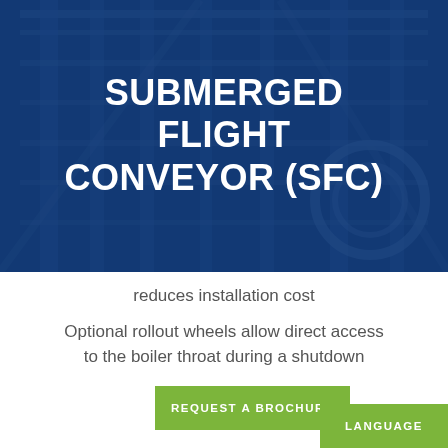[Figure (photo): Industrial submerged flight conveyor machinery with steel framework and structural components, overlaid with a dark blue tint]
SUBMERGED FLIGHT CONVEYOR (SFC)
reduces installation cost
Optional rollout wheels allow direct access to the boiler throat during a shutdown
REQUEST A BROCHURE
LANGUAGE